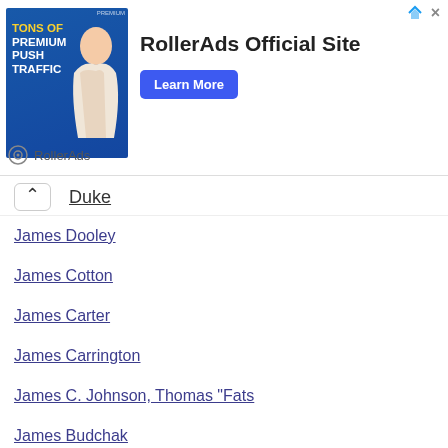[Figure (infographic): RollerAds advertisement banner with 'Tons of Premium Push Traffic' image on left, 'RollerAds Official Site' text in center, and 'Learn More' blue button on right. RollerAds logo and name at bottom left. Close/info icons at top right.]
Duke
James Dooley
James Cotton
James Carter
James Carrington
James C. Johnson, Thomas "Fats
James Budchak
James Brown Et The Famous Flam
James Brown & The Famous Flame